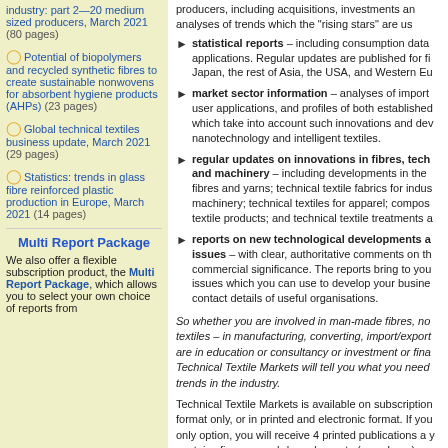industry: part 2—20 medium sized producers, March 2021 (80 pages)
Potential of biopolymers and recycled synthetic fibres to create sustainable nonwovens for absorbent hygiene products (AHPs) (23 pages)
Global technical textiles business update, March 2021 (29 pages)
Statistics: trends in glass fibre reinforced plastic production in Europe, March 2021 (14 pages)
Multi Report Package
We also offer a flexible subscription product, the Multi Report Package, which allows you to select your own choice of reports from
statistical reports – including consumption data applications. Regular updates are published for fi Japan, the rest of Asia, the USA, and Western Eu
market sector information – analyses of import user applications, and profiles of both established which take into account such innovations and dev nanotechnology and intelligent textiles.
regular updates on innovations in fibres, tech and machinery – including developments in the fibres and yarns; technical textile fabrics for indus machinery; technical textiles for apparel; compos textile products; and technical textile treatments a
reports on new technological developments a issues – with clear, authoritative comments on th commercial significance. The reports bring to you issues which you can use to develop your busine contact details of useful organisations.
So whether you are involved in man-made fibres, no textiles – in manufacturing, converting, import/export are in education or consultancy or investment or fina Technical Textile Markets will tell you what you need trends in the industry.
Technical Textile Markets is available on subscription format only, or in printed and electronic format. If you only option, you will receive 4 printed publications a y contains five research-based reports (see above) an